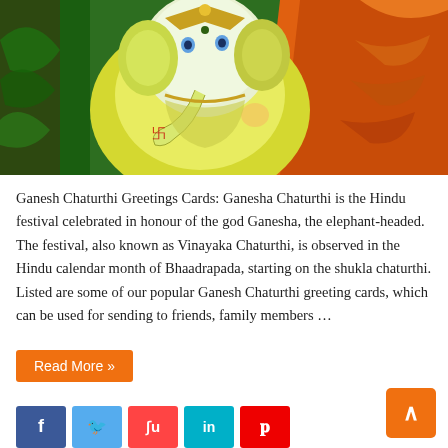[Figure (illustration): Colorful painting of Ganesha, the elephant-headed Hindu god, with decorative background in green, yellow, and orange tones.]
Ganesh Chaturthi Greetings Cards: Ganesha Chaturthi is the Hindu festival celebrated in honour of the god Ganesha, the elephant-headed. The festival, also known as Vinayaka Chaturthi, is observed in the Hindu calendar month of Bhaadrapada, starting on the shukla chaturthi. Listed are some of our popular Ganesh Chaturthi greeting cards, which can be used for sending to friends, family members …
Read More »
[Figure (other): Social media sharing buttons: Facebook (f), Twitter (bird), StumbleUpon (su), LinkedIn (in), Pinterest (p)]
Raksha Bandhan Greetings For Students
4to40.com   3 weeks ago   Greetings   8,182
[Figure (illustration): Partial preview of a Raksha Bandhan image at the bottom of the page.]